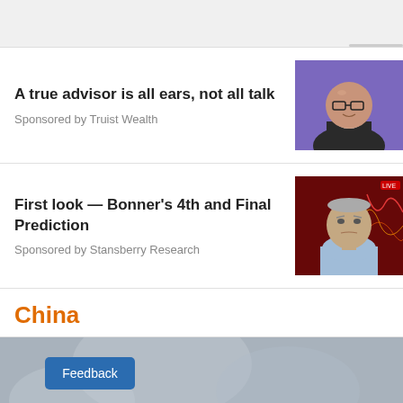[Figure (photo): Gray navigation bar at top of page with scroll indicator]
A true advisor is all ears, not all talk
Sponsored by Truist Wealth
[Figure (photo): Photo of bald man with glasses in dark jacket on purple background]
First look — Bonner's 4th and Final Prediction
Sponsored by Stansberry Research
[Figure (photo): Photo of older man in light blue shirt against dark red background with financial chart graphics]
China
[Figure (photo): Bottom partial image of blurred gray background with blue Feedback button overlay]